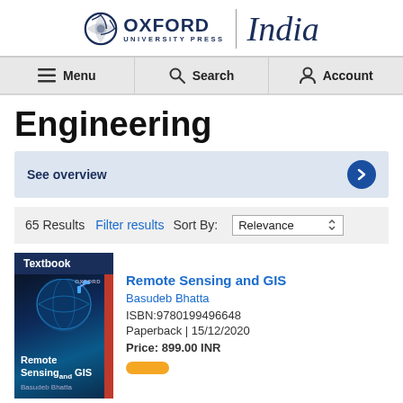[Figure (logo): Oxford University Press India logo with globe icon]
Menu | Search | Account
Engineering
See overview
65 Results   Filter results   Sort By: Relevance
[Figure (photo): Textbook cover: Remote Sensing and GIS by Basudeb Bhatta]
Remote Sensing and GIS
Basudeb Bhatta
ISBN:9780199496648
Paperback | 15/12/2020
Price: 899.00 INR